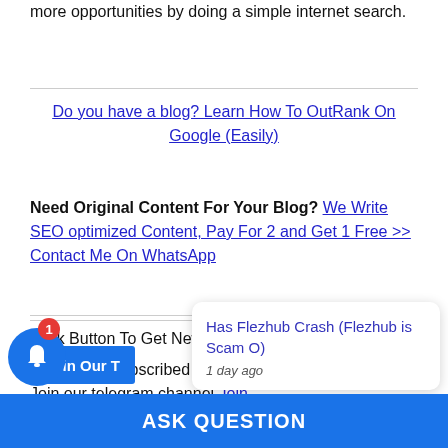more opportunities by doing a simple internet search.
Do you have a blog? Learn How To OutRank On Google (Easily)
Need Original Content For Your Blog? We Write SEO optimized Content, Pay For 2 and Get 1 Free >> Contact Me On WhatsApp
Click Button To Get New Post Update
If you have subscribed already. Join our telegram channel Join
[Figure (screenshot): Notification popup card showing 'Has Flezhub Crash (Flezhub is Scam O)' posted 1 day ago, with an X close button]
ASK QUESTION